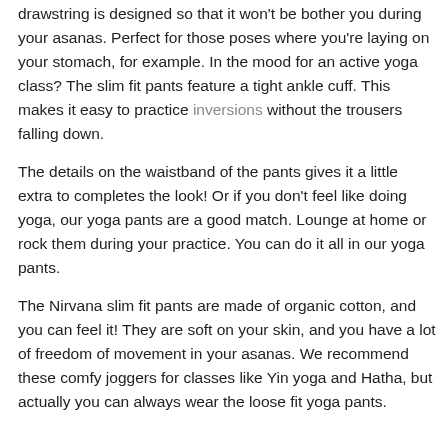drawstring is designed so that it won't be bother you during your asanas. Perfect for those poses where you're laying on your stomach, for example. In the mood for an active yoga class? The slim fit pants feature a tight ankle cuff. This makes it easy to practice inversions without the trousers falling down.
The details on the waistband of the pants gives it a little extra to completes the look! Or if you don't feel like doing yoga, our yoga pants are a good match. Lounge at home or rock them during your practice. You can do it all in our yoga pants.
The Nirvana slim fit pants are made of organic cotton, and you can feel it! They are soft on your skin, and you have a lot of freedom of movement in your asanas. We recommend these comfy joggers for classes like Yin yoga and Hatha, but actually you can always wear the loose fit yoga pants.